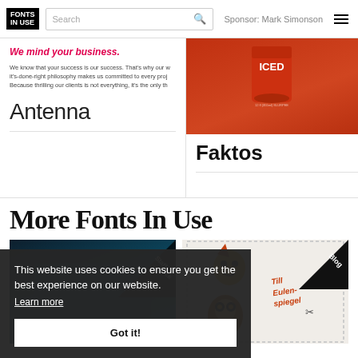FONTS IN USE | Search | Sponsor: Mark Simonson
We mind your business.
We know that your success is our success. That's why our w it's-done-right philosophy makes us committed to every proj Because thrilling our clients is not everything, it's the only th
[Figure (photo): Red cup product photo]
Antenna
Faktos
More Fonts In Use
[Figure (photo): Dark blue/teal image with Staff Pick badge in corner]
[Figure (illustration): Decorative stamp illustration with text 'Till Eulenspiegel' and Blog badge]
This website uses cookies to ensure you get the best experience on our website.
Learn more
Got it!